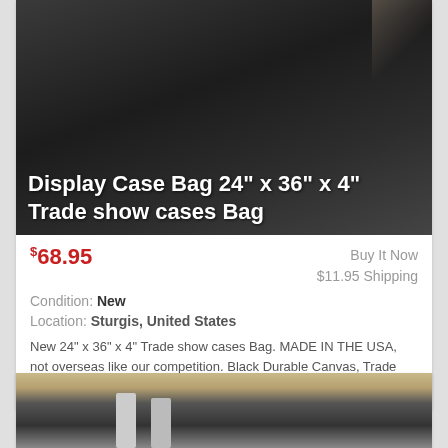[Figure (photo): Dark black canvas bag (Display Case Bag 24x36x4 inch) against a neutral background, photo taken from front angle]
Display Case Bag 24" x 36" x 4" Trade show cases Bag
$68.95   Buy It Now   $11.95 Shipping
Condition: New
Location: Sturgis, United States
New 24" x 36" x 4" Trade show cases Bag. MADE IN THE USA, not overseas like our competition. Black Durable Canvas, Trade show case bag with an open top. ... more
[Figure (photo): Partial view of a second product listing showing display fixtures or metal brackets inside a bag or case, photo cropped at bottom of page]